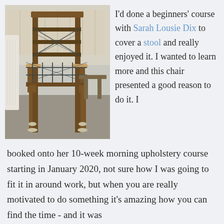[Figure (photo): A wooden armchair stripped of upholstery, showing the bare frame with webbing/springs visible, sitting on a grey floor next to a white radiator.]
I'd done a beginners' course with Sarah Lousie Dix to cover a stool and really enjoyed it. I wanted to learn more and this chair presented a good reason to do it. I booked onto her 10-week morning upholstery course starting in January 2020, not sure how I was going to fit it in around work, but when you are really motivated to do something it's amazing how you can find the time - and it was